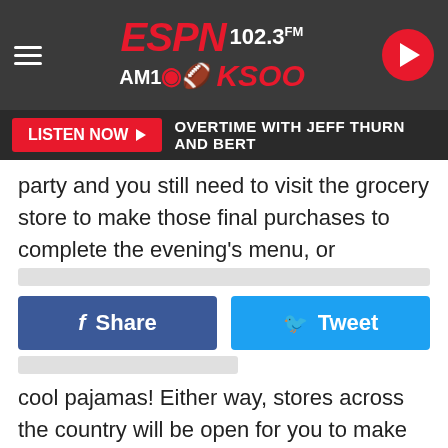ESPN 102.3 FM AM1000 KSOO
LISTEN NOW | OVERTIME WITH JEFF THURN AND BERT
party and you still need to visit the grocery store to make those final purchases to complete the evening's menu, or
[Figure (screenshot): Facebook Share button and Twitter Tweet button side by side]
cool pajamas! Either way, stores across the country will be open for you to make those last minute purchases for your end of the year celebrations.
Offer.com recently created a list of businesses and their holiday hours for New Year's Eve and New Year's Day. Stores in and around the Sioux Empire whose hours are changing for New Year's Eve and New Year's Day are as